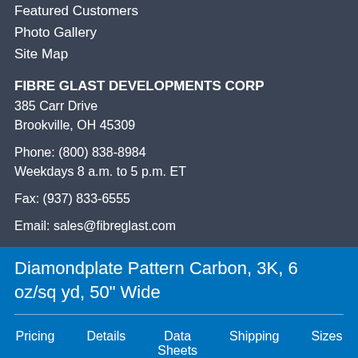Featured Customers
Photo Gallery
Site Map
FIBRE GLAST DEVELOPMENTS CORP
385 Carr Drive
Brookville, OH 45309

Phone: (800) 838-8984
Weekdays 8 a.m. to 5 p.m. ET

Fax: (937) 833-6555

Email: sales@fibreglast.com
Diamondplate Pattern Carbon, 3K, 6 oz/sq yd, 50" Wide
Pricing
Details
Data Sheets
Shipping
Sizes
Reviews
Q and A
Videos